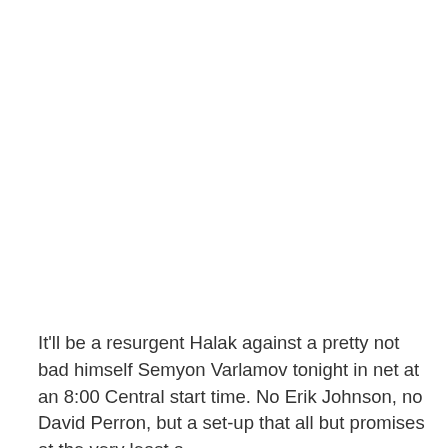It'll be a resurgent Halak against a pretty not bad himself Semyon Varlamov tonight in net at an 8:00 Central start time. No Erik Johnson, no David Perron, but a set-up that all but promises at the very least a